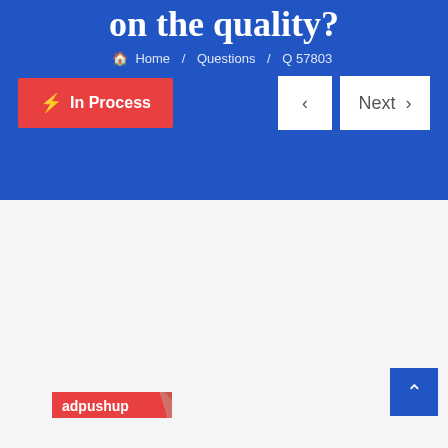on the quality?
🏠 Home / Questions / Q 57803
⚡ In Process
‹   Next ›
[Figure (logo): adpushup logo in red with white text and angled red banner]